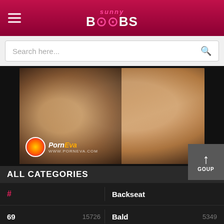SunnyBoobs
Search here...
[Figure (photo): Close-up photo of two people kissing, with a PornEva watermark in the lower left corner]
ALL CATEGORIES
# | Backseat
69 | 15726 | Bald | 5349
A | Ball Sucking | 7569